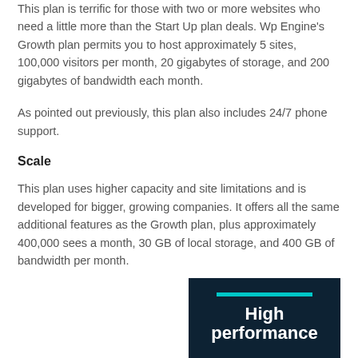This plan is terrific for those with two or more websites who need a little more than the Start Up plan deals. Wp Engine's Growth plan permits you to host approximately 5 sites, 100,000 visitors per month, 20 gigabytes of storage, and 200 gigabytes of bandwidth each month.
As pointed out previously, this plan also includes 24/7 phone support.
Scale
This plan uses higher capacity and site limitations and is developed for bigger, growing companies. It offers all the same additional features as the Growth plan, plus approximately 400,000 sees a month, 30 GB of local storage, and 400 GB of bandwidth per month.
[Figure (other): Dark navy background image with a teal horizontal bar and white bold text reading 'High performance']